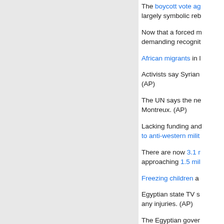The boycott vote ag... largely symbolic reb...
Now that a forced m... demanding recognit...
African migrants in l...
Activists say Syrian... (AP)
The UN says the ne... Montreux. (AP)
Lacking funding and... to anti-western milit...
There are now 3.1 r... approaching 1.5 mil...
Freezing children a...
Egyptian state TV s... any injuries. (AP)
The Egyptian gover... (Reuters/Los Angel...
A homemade bomb...
A senior Iranian offi...